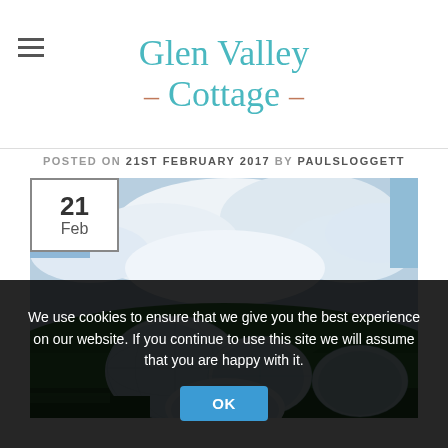Glen Valley Cottage
POSTED ON 21ST FEBRUARY 2017 BY PAULSLOGGETT
[Figure (photo): Photograph of the Eden Project biomes in Cornwall – large white geodesic dome structures nestled among green hills under a partly cloudy sky, with a date badge showing '21 Feb' overlaid in the top-left corner.]
We use cookies to ensure that we give you the best experience on our website. If you continue to use this site we will assume that you are happy with it.